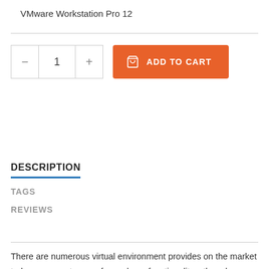VMware Workstation Pro 12
[Figure (other): Add to cart UI with quantity selector (minus, 1, plus buttons) and orange ADD TO CART button with shopping bag icon]
DESCRIPTION
TAGS
REVIEWS
There are numerous virtual environment provides on the market today, some put ease of use above functionality, other place integration above stability. VMware Workstation Pro is